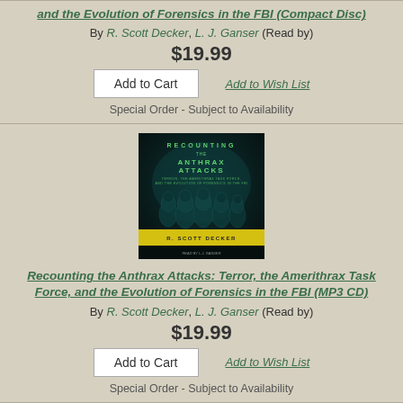and the Evolution of Forensics in the FBI (Compact Disc)
By R. Scott Decker, L. J. Ganser (Read by)
$19.99
Add to Wish List
Add to Cart
Special Order - Subject to Availability
[Figure (photo): Book cover of 'Recounting the Anthrax Attacks' audiobook showing three figures in hazmat suits against dark teal background with yellow band at bottom showing author name R. Scott Decker]
Recounting the Anthrax Attacks: Terror, the Amerithrax Task Force, and the Evolution of Forensics in the FBI (MP3 CD)
By R. Scott Decker, L. J. Ganser (Read by)
$19.99
Add to Wish List
Add to Cart
Special Order - Subject to Availability